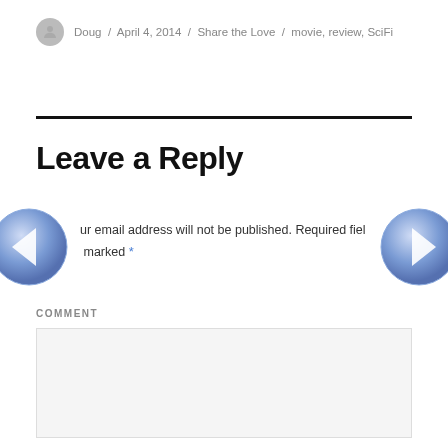Doug / April 4, 2014 / Share the Love / movie, review, SciFi
Leave a Reply
Your email address will not be published. Required fields are marked *
COMMENT